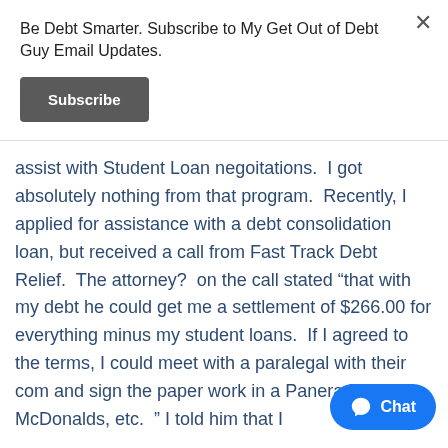Be Debt Smarter. Subscribe to My Get Out of Debt Guy Email Updates.
Subscribe
assist with Student Loan negoitations.  I got absolutely nothing from that program.  Recently, I applied for assistance with a debt consolidation loan, but received a call from Fast Track Debt Relief.  The attorney?  on the call stated “that with my debt he could get me a settlement of $266.00 for everything minus my student loans.  If I agreed to the terms, I could meet with a paralegal with their com and sign the paper work in a Panera Bread, McDonalds, etc.  ” I told him that I
[Figure (other): Facebook Messenger Chat button in bottom right corner]